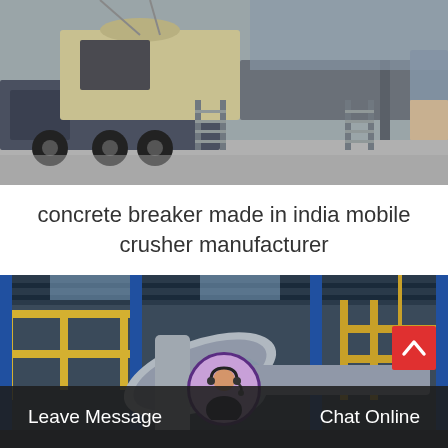[Figure (photo): A large mobile concrete crusher/breaker machine mounted on a heavy truck, photographed outdoors in an industrial yard. The machine is grey and beige colored with metal staircases/ladders on the sides.]
concrete breaker made in india mobile crusher manufacturer
[Figure (photo): Interior of an industrial factory/plant showing large machinery with blue structural steel framework, yellow safety railings, and large silver/metallic pipes and ducts. The image is taken from below looking upward.]
Leave Message
Chat Online